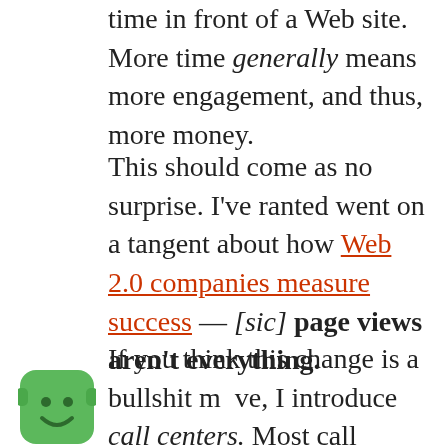time in front of a Web site. More time generally means more engagement, and thus, more money.
This should come as no surprise. I've ranted went on a tangent about how Web 2.0 companies measure success — [sic] page views aren't everything.
If you think this change is a bullshit move, I introduce call centers. Most call centers measure success based on call time (or SL... service level
[Figure (logo): Green cartoon character logo (Disqus-style mascot) — a green rounded square shape with a smiley face, positioned bottom-left]